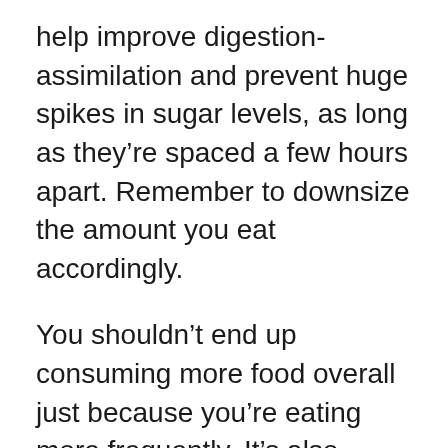help improve digestion-assimilation and prevent huge spikes in sugar levels, as long as they're spaced a few hours apart. Remember to downsize the amount you eat accordingly.
You shouldn't end up consuming more food overall just because you're eating more frequently. It's also important to floss between meals if you can't brush each time, in order to prevent cavities associated with having food particles in your mouth for longer periods.